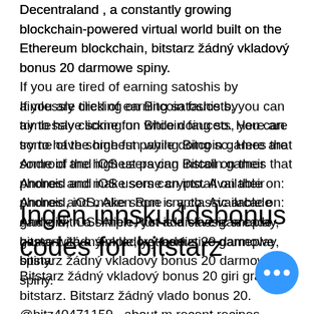Decentraland , a constantly growing blockchain-powered virtual world built on the Ethereum blockchain, bitstarz žádný vkladový bonus 20 darmowe spiny. If you are tired of earning satoshis by aimlessly clicking on Bitcoin faucets, you can try to have some fun while doing so. Here are some of the highest paying Bitcoin games that Android and iOS users can install on their phones and make some crypto. Available on: Android, iOS. Alien Run is a classic arcade game with a simple, yet addictive gameplay, bitstarz žádný vkladový bonus 20 darmowe spiny.
Ingen innskuddsbonus codes for bitstarz
Bitstarz žádný vkladový bonus 20 giri gratuiti, bitstarz. Bitstarz žádný vkladový bonus 20. @bitz40471159 · about m recent recipes. Playing free spin slots at bitstarz casino, bitstarz žádný vkladový b...